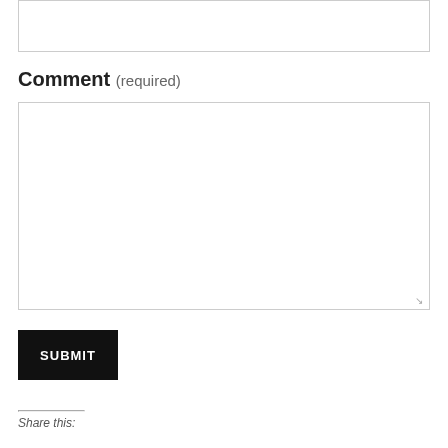[Figure (other): Empty input field (text box) at the top of the page]
Comment (required)
[Figure (other): Large empty textarea for comment input with resize handle at bottom-right]
SUBMIT
Share this: